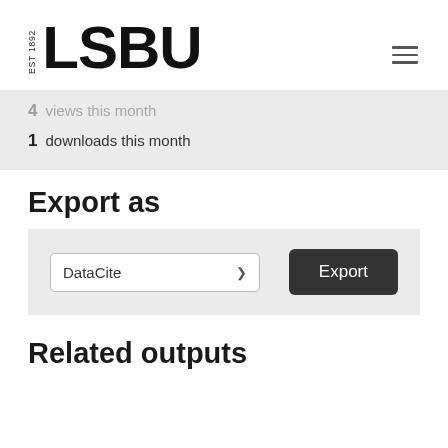[Figure (logo): LSBU logo with EST 1892 text and bold LSBU wordmark]
4 views this month
1 downloads this month
Export as
DataCite [dropdown] Export [button]
Related outputs